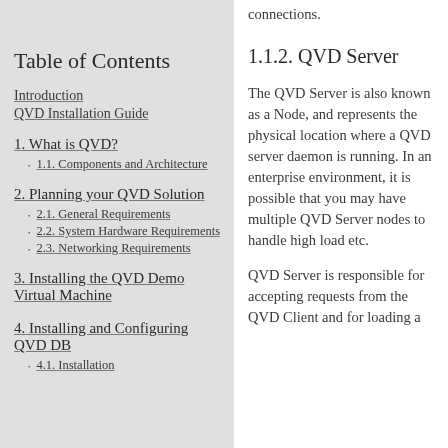connections.
Table of Contents
Introduction
QVD Installation Guide
1. What is QVD?
1.1. Components and Architecture
2. Planning your QVD Solution
2.1. General Requirements
2.2. System Hardware Requirements
2.3. Networking Requirements
3. Installing the QVD Demo Virtual Machine
4. Installing and Configuring QVD DB
4.1. Installation
1.1.2. QVD Server
The QVD Server is also known as a Node, and represents the physical location where a QVD server daemon is running. In an enterprise environment, it is possible that you may have multiple QVD Server nodes to handle high load etc.
QVD Server is responsible for accepting requests from the QVD Client and for loading a